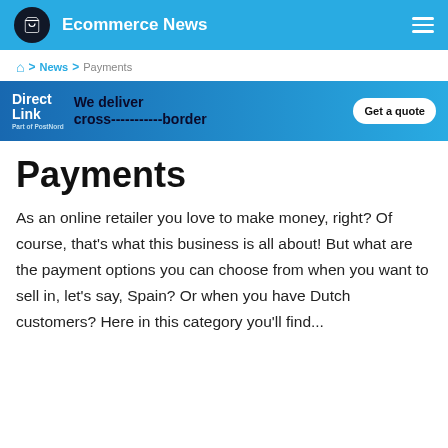Ecommerce News
Home > News > Payments
[Figure (infographic): Direct Link advertisement banner: 'We deliver cross-----------border' with a Get a quote button]
Payments
As an online retailer you love to make money, right? Of course, that’s what this business is all about! But what are the payment options you can choose from when you want to sell in, let’s say, Spain? Or when you have Dutch customers? Here in this category you’ll find...